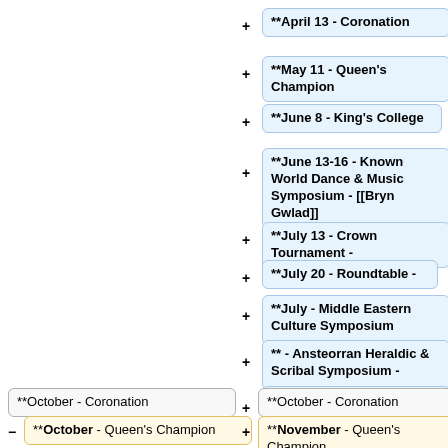**April 13 - Coronation
**May 11 - Queen's Champion
**June 8 - King's College
**June 13-16 - Known World Dance & Music Symposium - [[Bryn Gwlad]]
**July 13 - Crown Tournament -
**July 20 - Roundtable -
**July - Middle Eastern Culture Symposium
** - Ansteorran Heraldic & Scribal Symposium -
**September 19-22 - Ansteorra 40th Year - [[Mooneschadowe]]
**October - Coronation
**October - Coronation
**October - Queen's Champion
**November - Queen's Champion